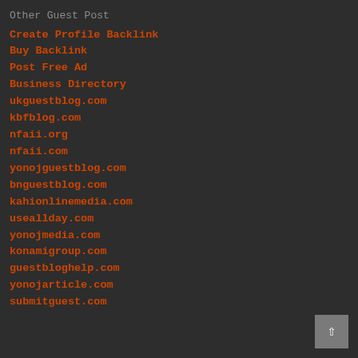Other Guest Post
Create Profile Backlink
Buy Backlink
Post Free Ad
Business Directory
ukguestblog.com
kbfblog.com
nfaii.org
nfaii.com
yonojguestblog.com
bnguestblog.com
kahionlinemedia.com
useallday.com
yonojmedia.com
konamigroup.com
guestbloghelp.com
yonojarticle.com
submitguest.com